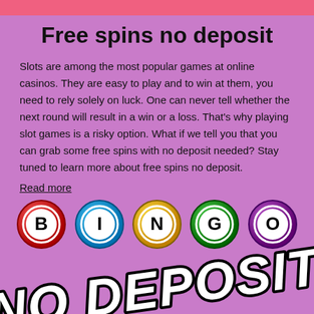Free spins no deposit
Slots are among the most popular games at online casinos. They are easy to play and to win at them, you need to rely solely on luck. One can never tell whether the next round will result in a win or a loss. That's why playing slot games is a risky option. What if we tell you that you can grab some free spins with no deposit needed? Stay tuned to learn more about free spins no deposit.
Read more
[Figure (illustration): Five colorful bingo balls spelling BINGO: red ball with B, blue ball with I, yellow ball with N, green ball with G, purple ball with O]
[Figure (illustration): Large bold white text with black outline reading NO DEPOSIT, tilted at an angle]